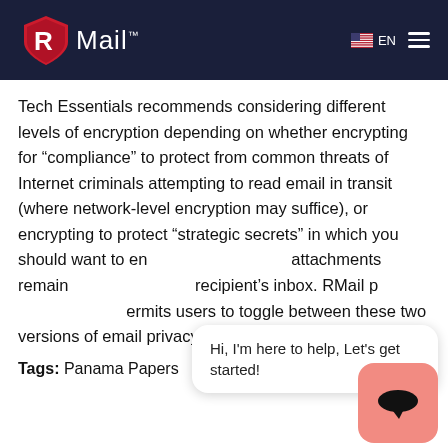RMail
Tech Essentials recommends considering different levels of encryption depending on whether encrypting for “compliance” to protect from common threats of Internet criminals attempting to read email in transit (where network-level encryption may suffice), or encrypting to protect “strategic secrets” in which you should want to encrypt the email and attachments remain encrypted in the recipient’s inbox. RMail permits users to toggle between these two versions of email privacy, depending on their needs.
Tags: Panama Papers